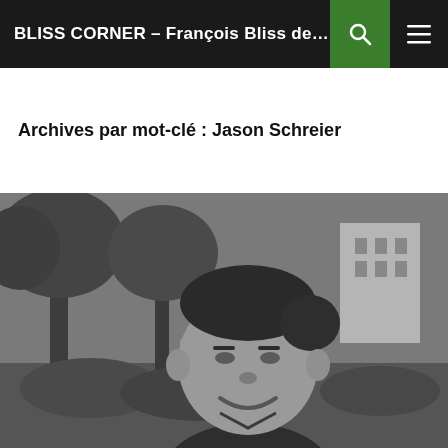BLISS CORNER – François Bliss de la Bois...
Archives par mot-clé : Jason Schreier
[Figure (photo): Black and white photograph of a man (Jason Schreier) smiling, with trees and urban buildings in the background]